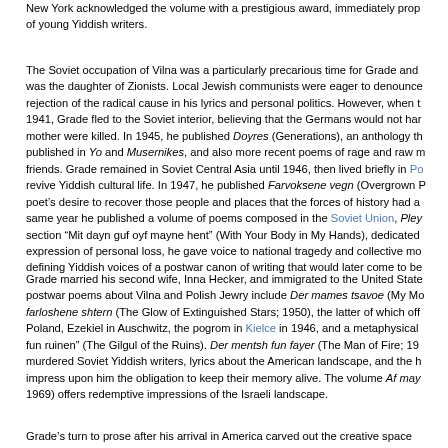New York acknowledged the volume with a prestigious award, immediately prop of young Yiddish writers.
The Soviet occupation of Vilna was a particularly precarious time for Grade and was the daughter of Zionists. Local Jewish communists were eager to denounce rejection of the radical cause in his lyrics and personal politics. However, when t 1941, Grade fled to the Soviet interior, believing that the Germans would not har mother were killed. In 1945, he published Doyres (Generations), an anthology th published in Yo and Musernikes, and also more recent poems of rage and raw m friends. Grade remained in Soviet Central Asia until 1946, then lived briefly in Po revive Yiddish cultural life. In 1947, he published Farvoksene vegn (Overgrown P poet's desire to recover those people and places that the forces of history had a same year he published a volume of poems composed in the Soviet Union, Pley section “Mit dayn guf oyf mayne hent” (With Your Body in My Hands), dedicated expression of personal loss, he gave voice to national tragedy and collective mo defining Yiddish voices of a postwar canon of writing that would later come to be
Grade married his second wife, Inna Hecker, and immigrated to the United State postwar poems about Vilna and Polish Jewry include Der mames tsavoe (My Mo farloshene shtern (The Glow of Extinguished Stars; 1950), the latter of which off Poland, Ezekiel in Auschwitz, the pogrom in Kielce in 1946, and a metaphysical fun ruinen” (The Gilgul of the Ruins). Der mentsh fun fayer (The Man of Fire; 19 murdered Soviet Yiddish writers, lyrics about the American landscape, and the h impress upon him the obligation to keep their memory alive. The volume Af may 1969) offers redemptive impressions of the Israeli landscape.
Grade’s turn to prose after his arrival in America carved out the creative space